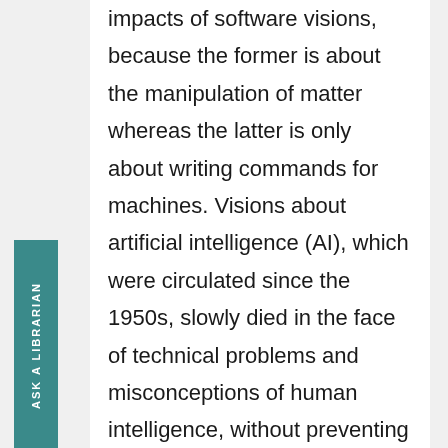impacts of software visions, because the former is about the manipulation of matter whereas the latter is only about writing commands for machines. Visions about artificial intelligence (AI), which were circulated since the 1950s, slowly died in the face of technical problems and misconceptions of human intelligence, without preventing people from, say, using computers. It seems to be no coincidence that software engineers have transferred AI visions to nanotechnology to establish a new visionary terrain. However, the new terrain is